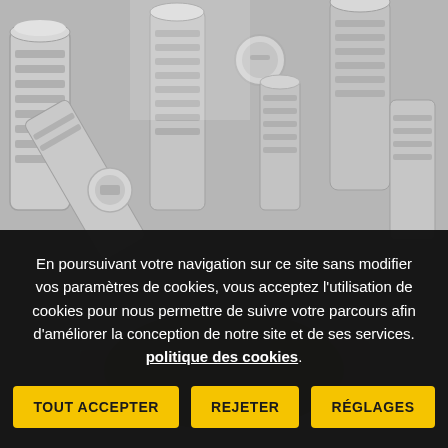[Figure (photo): Close-up photo of a pile of silver/chrome metallic screws, bolts and threaded fasteners]
En poursuivant votre navigation sur ce site sans modifier vos paramètres de cookies, vous acceptez l'utilisation de cookies pour nous permettre de suivre votre parcours afin d'améliorer la conception de notre site et de ses services. politique des cookies.
TOUT ACCEPTER
REJETER
RÉGLAGES